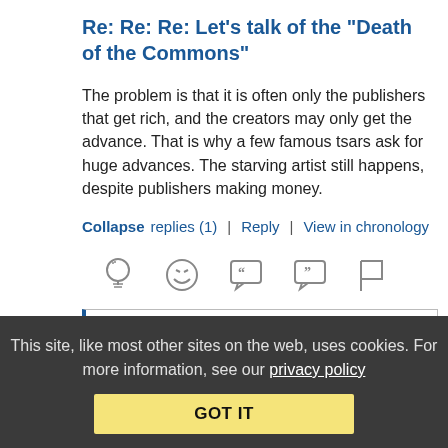Re: Re: Re: Let's talk of the "Death of the Commons"
The problem is that it is often only the publishers that get rich, and the creators may only get the advance. That is why a few famous tsars ask for huge advances. The starving artist still happens, despite publishers making money.
Collapse replies (1) | Reply | View in chronology
[Figure (infographic): Row of action icons: lightbulb (insightful), laughing emoji, speech bubble with open-quote, speech bubble with close-quote, flag]
[5] (reply thread count icon)
This site, like most other sites on the web, uses cookies. For more information, see our privacy policy
GOT IT